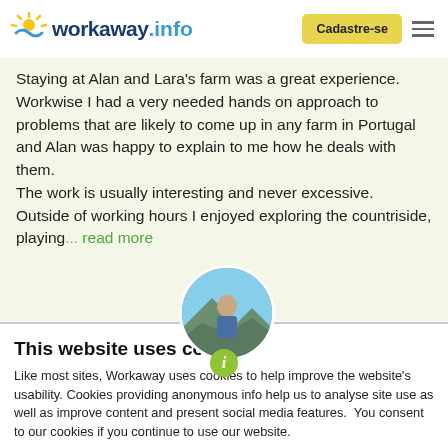workaway.info | Cadastre-se
Staying at Alan and Lara's farm was a great experience. Workwise I had a very needed hands on approach to problems that are likely to come up in any farm in Portugal and Alan was happy to explain to me how he deals with them.
The work is usually interesting and never excessive.
Outside of working hours I enjoyed exploring the countriside, playing... read more
[Figure (photo): Circular avatar photo of a person outdoors with a scenic background, with a green info badge below]
This website uses cookies
Like most sites, Workaway uses cookies to help improve the website's usability. Cookies providing anonymous info help us to analyse site use as well as improve content and present social media features.  You consent to our cookies if you continue to use our website.
OK | Settings